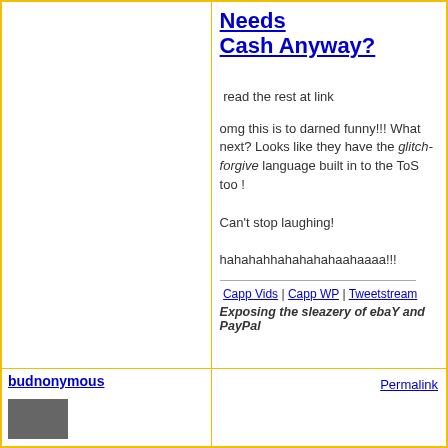Needs Cash Anyway?
read the rest at link
omg this is to darned funny!!! What next? Looks like they have the glitch-forgive language built in to the ToS too !

Can't stop laughing!
hahahahhahahahahaahaaaa!!!
Capp Vids | Capp WP | Tweetstream
Exposing the sleazery of ebaY and PayPal
budnonymous
Permalink